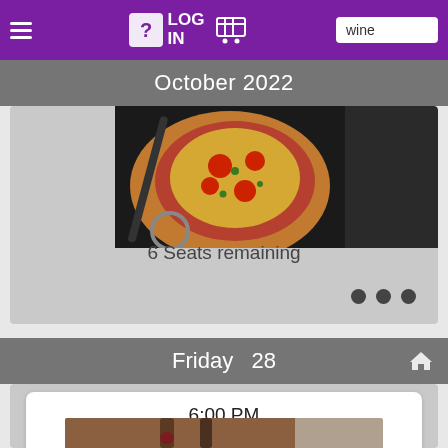LOG IN | cart | wine
October 2022
[Figure (photo): Photo of pizza slices on a dark background with a pizza cutter]
6 Seats remaining
Friday  28
6:00 PM
Cooking Couples Wine and Dine - New England
[Figure (photo): Photo of wine bottles at the bottom of the page]